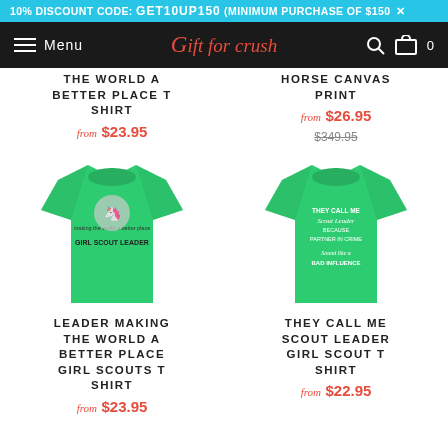10% DISCOUNT CODE: GET10UP150 (MINIMUM PURCHASE OF $150)
Menu | Gift for crush | 0
THE WORLD A BETTER PLACE T SHIRT
from $23.95
HORSE CANVAS PRINT
from $26.95 $349.95
[Figure (photo): Green t-shirt with Girl Scout Leader unicorn graphic text design]
LEADER MAKING THE WORLD A BETTER PLACE GIRL SCOUTS T SHIRT
from $23.95
[Figure (photo): Green t-shirt with They Call Me Scout Leader Because Partner in Crime Sounds Like a Bad Influence text design]
THEY CALL ME SCOUT LEADER GIRL SCOUT T SHIRT
from $22.95